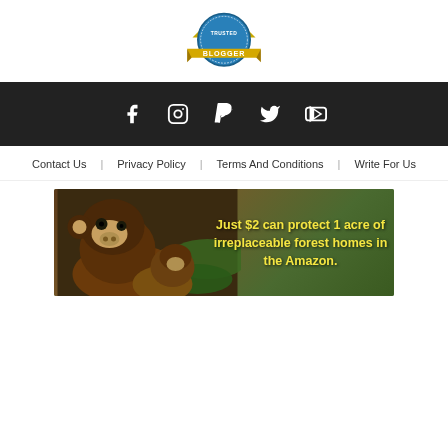[Figure (logo): Blogger badge logo — blue circular badge with gold/yellow ribbon banner reading BLOGGER, with stars]
[Figure (infographic): Dark social media bar with icons for Facebook, Instagram, PayPal, Twitter, YouTube]
Contact Us   Privacy Policy   Terms And Conditions   Write For Us
[Figure (photo): Advertisement banner showing a brown monkey/primate in Amazon forest with yellow bold text: Just $2 can protect 1 acre of irreplaceable forest homes in the Amazon.]